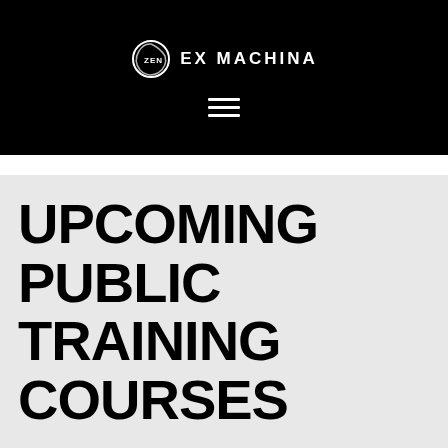ZEN EX MACHINA
UPCOMING PUBLIC TRAINING COURSES